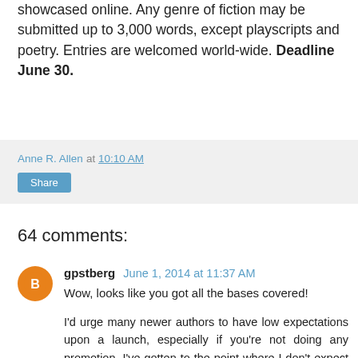showcased online. Any genre of fiction may be submitted up to 3,000 words, except playscripts and poetry. Entries are welcomed world-wide. Deadline June 30.
Anne R. Allen at 10:10 AM
Share
64 comments:
gpstberg June 1, 2014 at 11:37 AM
Wow, looks like you got all the bases covered!
I'd urge many newer authors to have low expectations upon a launch, especially if you're not doing any promotion. I've gotten to the point where I don't expect a whole lot of sales on a launch, and then I'm happily surprised when 1 or 2 come through.
Sometimes if you want to do a lot of promo work for a